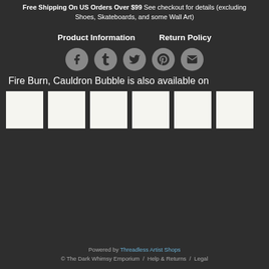Free Shipping On US Orders Over $99 See checkout for details (excluding Shoes, Skateboards, and some Wall Art)
Product Information    Return Policy
[Figure (infographic): Row of 5 social media share icons (Facebook, Tumblr, Twitter, Pinterest, Email) as grey circles with dark icons]
Fire Burn, Cauldron Bubble is also available on
[Figure (infographic): Six white/light grey product thumbnail squares in a row]
Powered by Threadless Artist Shops © The Dark Whimsy Emporium / Help & Returns / Legal